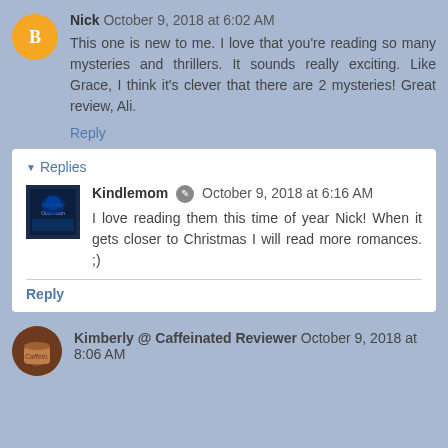Nick  October 9, 2018 at 6:02 AM
This one is new to me. I love that you're reading so many mysteries and thrillers. It sounds really exciting. Like Grace, I think it's clever that there are 2 mysteries! Great review, Ali.
Reply
Replies
Kindlemom  October 9, 2018 at 6:16 AM
I love reading them this time of year Nick! When it gets closer to Christmas I will read more romances. ;)
Reply
Kimberly @ Caffeinated Reviewer  October 9, 2018 at 8:06 AM